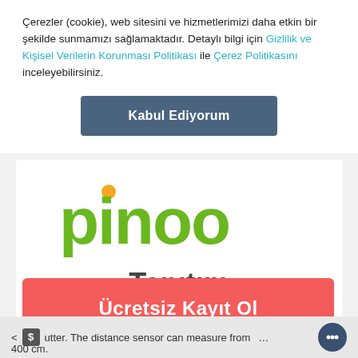Çerezler (cookie), web sitesini ve hizmetlerimizi daha etkin bir şekilde sunmamızı sağlamaktadır. Detaylı bilgi için Gizlilik ve Kişisel Verilerin Korunması Politikası ile Çerez Politikasını inceleyebilirsiniz.
[Figure (other): Button: Kabul Ediyorum (dark slate blue/gray rectangular button)]
[Figure (logo): Pinoo logo with green lettering and orange dot above the letter i, followed by text 'Tanıtım Atölyesi' in dark gray]
[Figure (other): Red button: Ücretsiz Kayıt Ol]
utter. The distance sensor can measure from 400 cm.